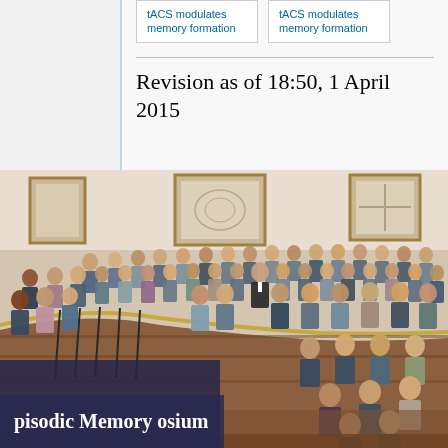tACS modulates memory formation
tACS modulates memory formation
Revision as of 18:50, 1 April 2015
[Figure (photo): Group photo of many researchers/attendees on a grand staircase in an ornate building with framed artwork on walls. Dozens of people standing on stairs, some wearing conference name badges. Semi-circular staircase with golden railing.]
pisodic Memory osium